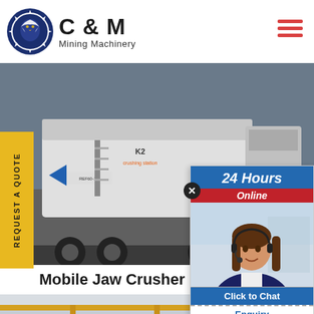[Figure (logo): C&M Mining Machinery logo with gear/eagle emblem in dark blue and bold text]
[Figure (photo): Mobile jaw crusher machine on a truck/trailer at an industrial site, large white crushing unit labeled K2]
REQUEST A QUOTE
Mobile Jaw Crusher
[Figure (photo): Interior of a factory/workshop with yellow overhead crane structures]
[Figure (screenshot): Chat widget overlay showing '24 Hours Online' with a customer service representative wearing a headset, and 'Click to Chat' and 'Enquiry' buttons]